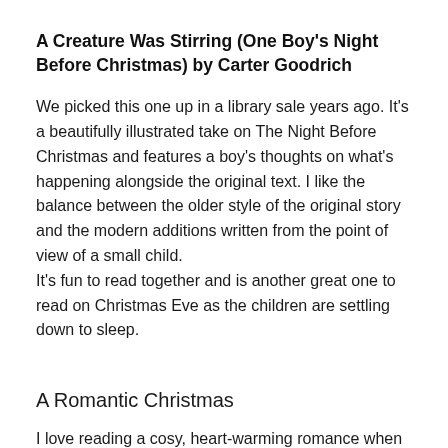A Creature Was Stirring (One Boy's Night Before Christmas) by Carter Goodrich
We picked this one up in a library sale years ago. It's a beautifully illustrated take on The Night Before Christmas and features a boy's thoughts on what's happening alongside the original text. I like the balance between the older style of the original story and the modern additions written from the point of view of a small child.
It's fun to read together and is another great one to read on Christmas Eve as the children are settling down to sleep.
A Romantic Christmas
I love reading a cosy, heart-warming romance when the nights draw in and I feel like hibernating. For me, Sarah